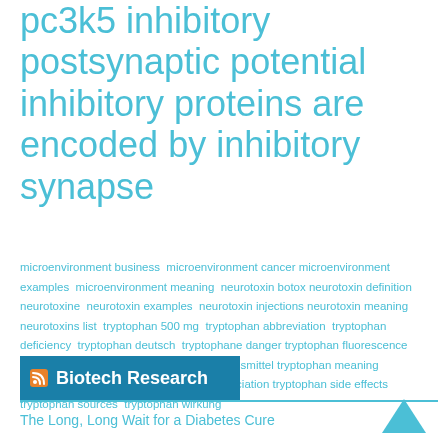pc3k5 inhibitory postsynaptic potential inhibitory proteins are encoded by inhibitory synapse
microenvironment business microenvironment cancer microenvironment examples microenvironment meaning neurotoxin botox neurotoxin definition neurotoxine neurotoxin examples neurotoxin injections neurotoxin meaning neurotoxins list tryptophan 500 mg tryptophan abbreviation tryptophan deficiency tryptophan deutsch tryptophane danger tryptophan fluorescence tryptophan hydroxylase 1 tryptophan lebensmittel tryptophan meaning tryptophan metabolism tryptophan pronunciation tryptophan side effects tryptophan sources tryptophan wirkung
Biotech Research
The Long, Long Wait for a Diabetes Cure